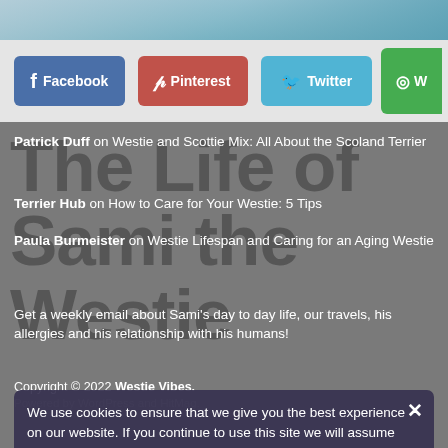[Figure (screenshot): Top image strip showing a partial photo background (outdoors/blurry)]
[Figure (infographic): Social sharing buttons bar with Facebook (blue), Pinterest (red), Twitter (light blue), WhatsApp (green) buttons]
The Life of Sami the Westie
Patrick Duff on Westie and Scottie Mix: All About the Scoland Terrier
Terrier Hub on How to Care for Your Westie: 5 Tips
Paula Burmeister on Westie Lifespan and Caring for an Aging Westie
Get a weekly email about Sami's day to day life, our travels, his allergies and his relationship with his humans!
Copyright © 2022 Westie Vibes.
Powered by WordPress and HitMag.
We use cookies to ensure that we give you the best experience on our website. If you continue to use this site we will assume that you are happy with it.